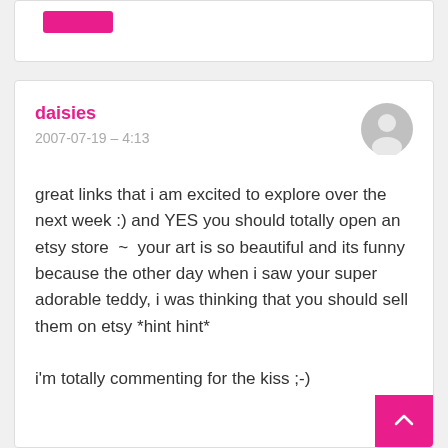[Figure (other): Top card with pink button, partially visible]
daisies
2007-07-19 – 4:13
[Figure (illustration): Generic gray user avatar circle icon]
great links that i am excited to explore over the next week :) and YES you should totally open an etsy store ~ your art is so beautiful and its funny because the other day when i saw your super adorable teddy, i was thinking that you should sell them on etsy *hint hint*

i'm totally commenting for the kiss ;-)